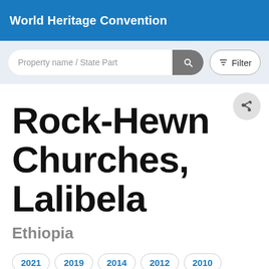World Heritage Convention
[Figure (screenshot): Search bar with 'Property name / State Part' placeholder text and a filter button]
Rock-Hewn Churches, Lalibela
Ethiopia
2021
2019
2014
2012
2010